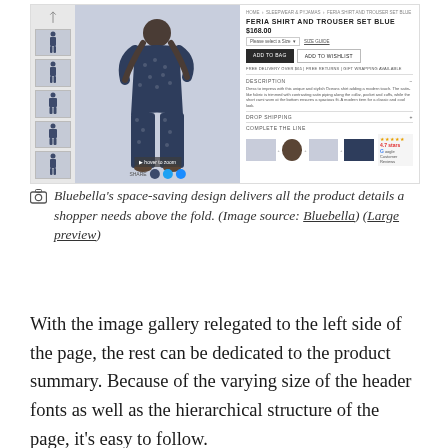[Figure (screenshot): Bluebella product page screenshot showing 'FERIA SHIRT AND TROUSER SET BLUE' at $168.00 with image gallery, add to bag button, add to wishlist button, description section, and complete the line section.]
Bluebella's space-saving design delivers all the product details a shopper needs above the fold. (Image source: Bluebella) (Large preview)
With the image gallery relegated to the left side of the page, the rest can be dedicated to the product summary. Because of the varying size of the header fonts as well as the hierarchical structure of the page, it's easy to follow.